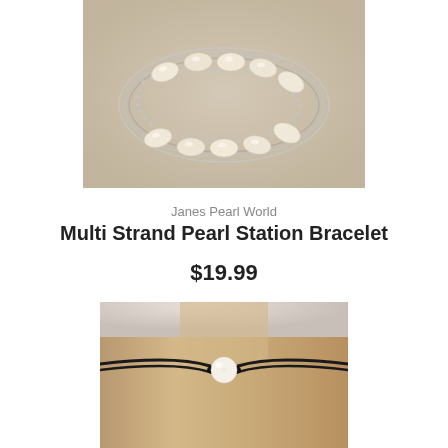[Figure (photo): Multi strand pearl station bracelet with silver chain and oval freshwater pearls arranged in a twisted multi-strand pattern on a beige fabric background]
Janes Pearl World
Multi Strand Pearl Station Bracelet
$19.99
[Figure (photo): Black leather choker necklace with a single white freshwater pearl in the center, displayed on a beige mannequin neck form]